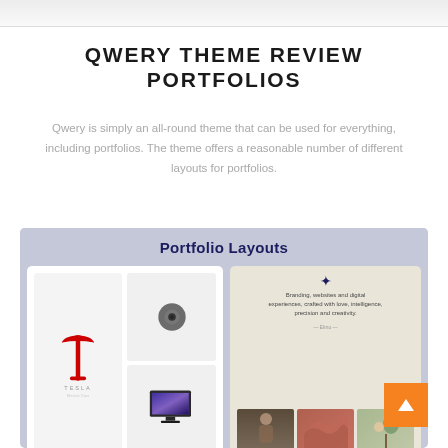[Figure (screenshot): Top portion of a webpage screenshot showing the upper edge of a browser/device mockup]
QWERY THEME REVIEW PORTFOLIOS
Qwery is simply an all-round theme that can be used for everything, including portfolios. The theme offers a reasonable number of different layouts for portfolios.
[Figure (screenshot): Screenshot showing Portfolio Layouts section with two portfolio layout examples: one featuring Tesla logo and product images, another with branding/photography portfolio]